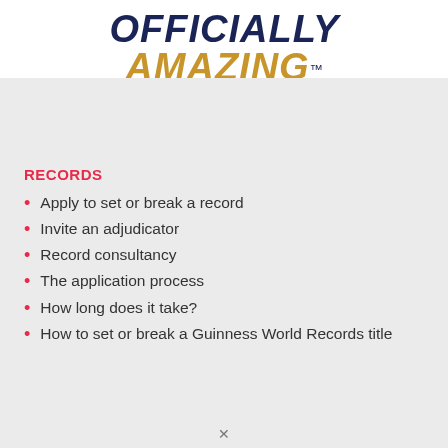OFFICIALLY AMAZING™
[Figure (other): Social media icons: Facebook, Twitter, YouTube, Instagram, LinkedIn, Snapchat, Pinterest, TikTok]
RECORDS
Apply to set or break a record
Invite an adjudicator
Record consultancy
The application process
How long does it take?
How to set or break a Guinness World Records title